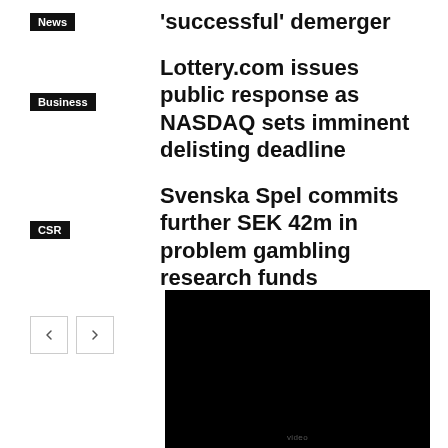News — 'successful' demerger
Business — Lottery.com issues public response as NASDAQ sets imminent delisting deadline
CSR — Svenska Spel commits further SEK 42m in problem gambling research funds
[Figure (screenshot): Black video player thumbnail area with small text label at bottom center]
video